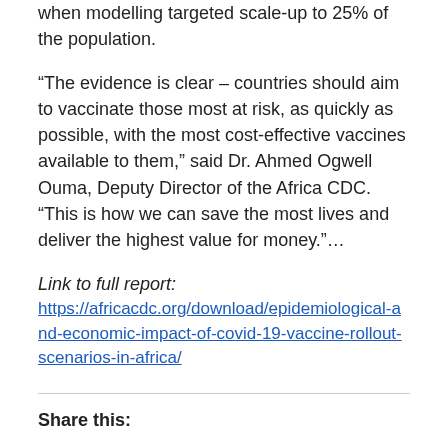when modelling targeted scale-up to 25% of the population.
“The evidence is clear – countries should aim to vaccinate those most at risk, as quickly as possible, with the most cost-effective vaccines available to them,” said Dr. Ahmed Ogwell Ouma, Deputy Director of the Africa CDC. “This is how we can save the most lives and deliver the highest value for money.”…
Link to full report: https://africacdc.org/download/epidemiological-and-economic-impact-of-covid-19-vaccine-rollout-scenarios-in-africa/
Share this: